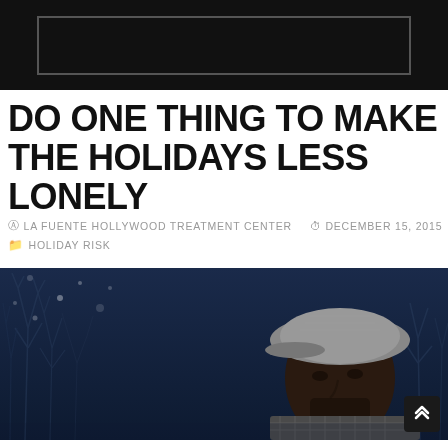DO ONE THING TO MAKE THE HOLIDAYS LESS LONELY
© LA FUENTE HOLLYWOOD TREATMENT CENTER   🕐 DECEMBER 15, 2015   📁 HOLIDAY RISK
[Figure (photo): A lone Black man wearing a grey flat cap and plaid scarf looks downward against a dark blue winter forest background with bare snow-dusted trees.]